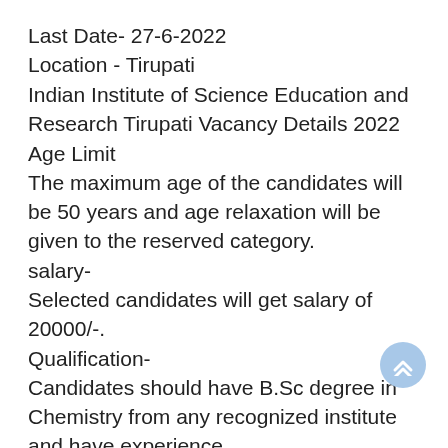Last Date- 27-6-2022
Location - Tirupati
Indian Institute of Science Education and Research Tirupati Vacancy Details 2022
Age Limit
The maximum age of the candidates will be 50 years and age relaxation will be given to the reserved category.
salary-
Selected candidates will get salary of 20000/-.
Qualification-
Candidates should have B.Sc degree in Chemistry from any recognized institute and have experience
Selection Process Candidate will be selected on the basis of Interview.